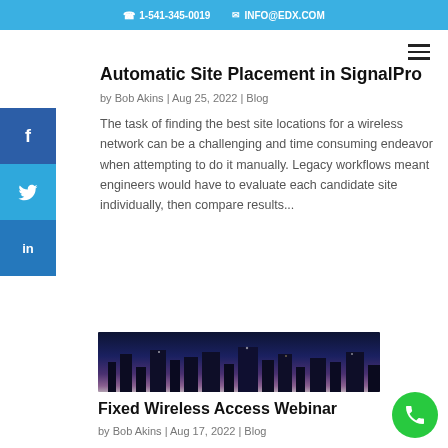1-541-345-0019  INFO@EDX.COM
Automatic Site Placement in SignalPro
by Bob Akins | Aug 25, 2022 | Blog
The task of finding the best site locations for a wireless network can be a challenging and time consuming endeavor when attempting to do it manually. Legacy workflows meant engineers would have to evaluate each candidate site individually, then compare results...
[Figure (photo): Cityscape at dusk/night with tall buildings silhouetted against a purple and grey sky]
Fixed Wireless Access Webinar
by Bob Akins | Aug 17, 2022 | Blog